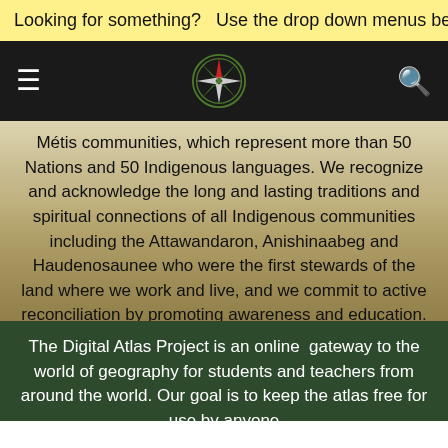Looking for something?   Use the drop down menus below OR ent...
[Figure (logo): Navigation bar with hamburger menu, compass logo, and search icon on black background]
Métis communities, which represent more than 50 Nations and 50 Indigenous languages. We recognize and acknowledge the long and lasting traditions and spiritual connections of all Indigenous communities including the Attawandaron, Anishinaabeg and Haudenosaunee who were the first stewards of the land where we work and live, and we commit to active reconciliation by promoting awareness and education.
The Digital Atlas Project is an online  gateway to the world of geography for students and teachers from around the world. Our goal is to keep the atlas free for use by anyone